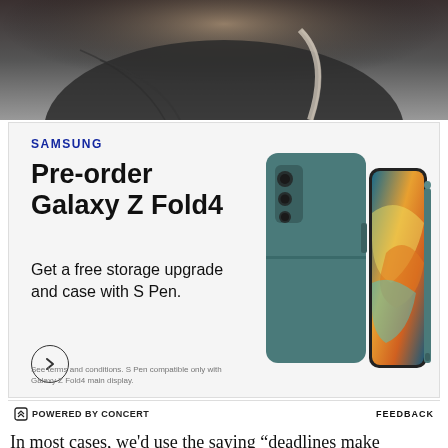[Figure (photo): Top portion of a person's upper body/shoulder area, dark clothing, partial view]
[Figure (illustration): Samsung advertisement: Pre-order Galaxy Z Fold4. Get a free storage upgrade and case with S Pen. Shows Samsung Galaxy Z Fold4 phone in teal/grey color with S Pen stylus. Arrow button circle and fine print text.]
SAMSUNG
Pre-order Galaxy Z Fold4
Get a free storage upgrade and case with S Pen.
See terms and conditions. S Pen compatible only with Galaxy Z Fold4 main display.
POWERED BY CONCERT   FEEDBACK
In most cases, we'd use the saying “deadlines make